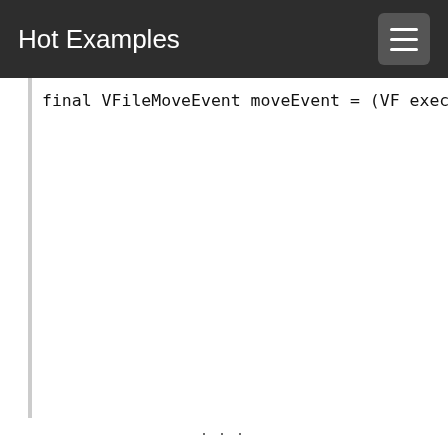Hot Examples
final VFileMoveEvent moveEvent = (VF
    executeMove(moveEvent.getFile(), mov
} else if (event instanceof VFilePrope
    final VFilePropertyChangeEvent prope
    if (VirtualFile.PROP_NAME.equals(pro
        executeRename(propertyChangeEvent.
    } else if (VirtualFile.PROP_WRITABLE
        executeSetWritable(
                propertyChangeEvent.getFile(),
                ((Boolean) propertyChangeEvent
    } else if (VirtualFile.PROP_HIDDEN.e
        executeSetHidden(
                propertyChangeEvent.getFile(),
                ((Boolean) propertyChangeEvent
    } else if (VirtualFile.PROP_SYMLINK_
        executeSetTarget(
                propertyChangeEvent.getFile(),
...